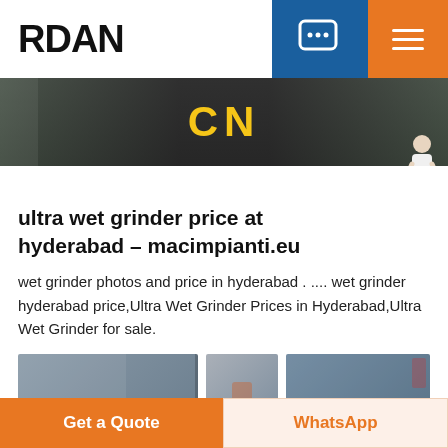RDAN
[Figure (photo): Banner image with dark background and yellow 'CN' text in the center, resembling a storefront sign]
ultra wet grinder price at hyderabad – macimpianti.eu
wet grinder photos and price in hyderabad . .... wet grinder hyderabad price,Ultra Wet Grinder Prices in Hyderabad,Ultra Wet Grinder for sale.
[Figure (photo): Two thumbnail images of wet grinder products]
Get a Quote | WhatsApp